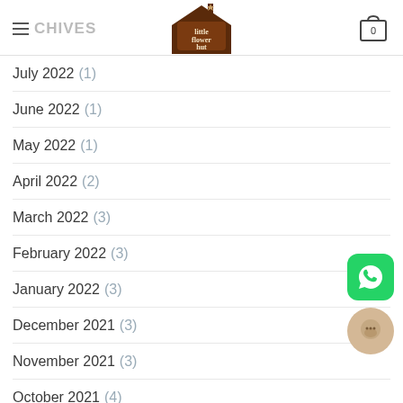≡ CHIVES — Little Flower Hut (logo) — Cart (0)
July 2022 (1)
June 2022 (1)
May 2022 (1)
April 2022 (2)
March 2022 (3)
February 2022 (3)
January 2022 (3)
December 2021 (3)
November 2021 (3)
October 2021 (4)